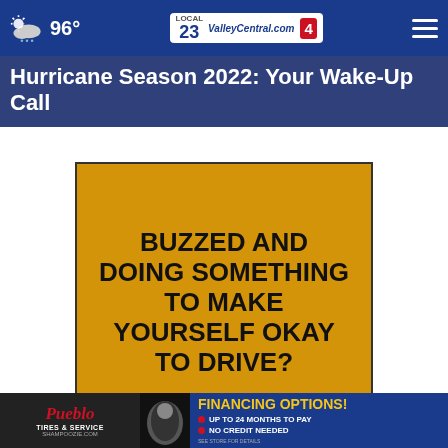96° ValleyCentral.com Local 23 4
Hurricane Season 2022: Your Wake-Up Call
[Figure (infographic): Golden/yellow advertisement with bold black text reading: BUZZED AND DOING SOMETHING TO MAKE YOURSELF OKAY TO DRIVE?]
[Figure (infographic): Pueblo Tires & Service banner ad with text: FINANCING OPTIONS! UP TO 24 MONTHS TO PAY, NO CREDIT NEEDED, SEE STORE FOR DETAILS. Website: SHAMPOOZIE.COM]